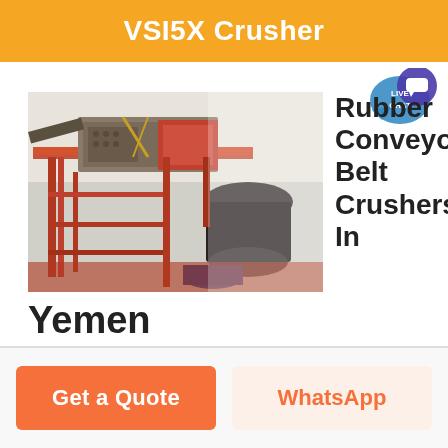VSI5X Crusher
[Figure (photo): Industrial VSI5X crusher machinery with orange/red steel framework, conveyor structures, and processing equipment photographed at an industrial site]
Rubber Conveyor Belt Crushers In Yemen
Get a Quote
WhatsApp